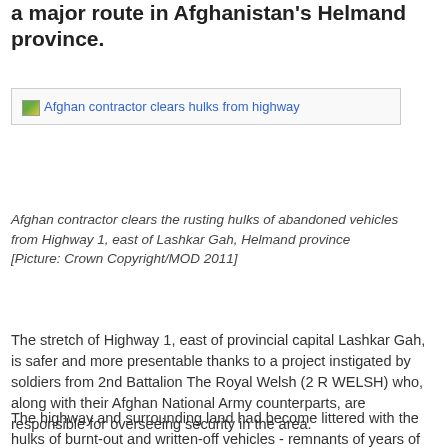a major route in Afghanistan's Helmand province.
[Figure (photo): Afghan contractor clears hulks from highway — broken image placeholder with link text]
Afghan contractor clears the rusting hulks of abandoned vehicles from Highway 1, east of Lashkar Gah, Helmand province
[Picture: Crown Copyright/MOD 2011]
The stretch of Highway 1, east of provincial capital Lashkar Gah, is safer and more presentable thanks to a project instigated by soldiers from 2nd Battalion The Royal Welsh (2 R WELSH) who, along with their Afghan National Army counterparts, are responsible for overseeing security in the area.
The highway and surrounding land had become littered with the hulks of burnt-out and written-off vehicles - remnants of years of war, improvised